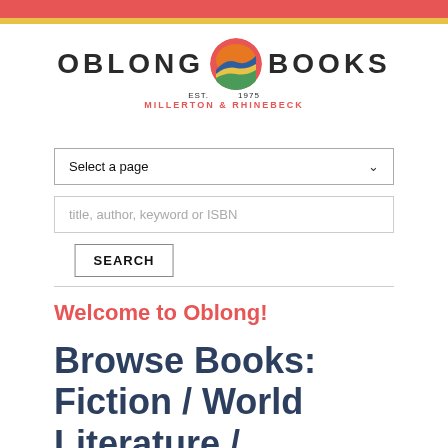[Figure (logo): Oblong Books logo with circular mountain/sunset icon, text OBLONG BOOKS, EST. 1975, MILLERTON & RHINEBECK]
Select a page
title, author, keyword or ISBN
SEARCH
Welcome to Oblong!
Browse Books: Fiction / World Literature /